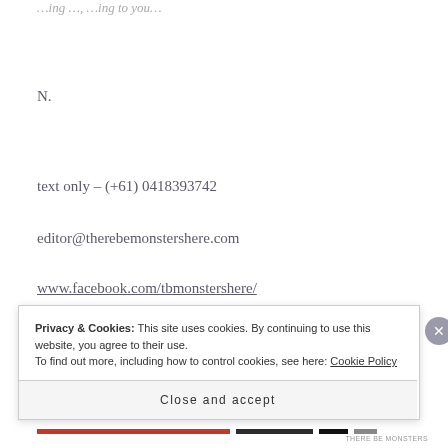N.
text only – (+61) 0418393742
editor@therebemonstershere.com
www.facebook.com/tbmonstershere/
Privacy & Cookies: This site uses cookies. By continuing to use this website, you agree to their use.
To find out more, including how to control cookies, see here: Cookie Policy
Close and accept